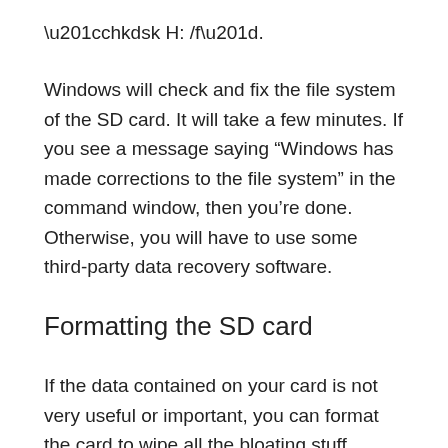“chkdsk H: /f”.
Windows will check and fix the file system of the SD card. It will take a few minutes. If you see a message saying “Windows has made corrections to the file system” in the command window, then you’re done. Otherwise, you will have to use some third-party data recovery software.
Formatting the SD card
If the data contained on your card is not very useful or important, you can format the card to wipe all the bloating stuff.
To format your card, follow these steps: